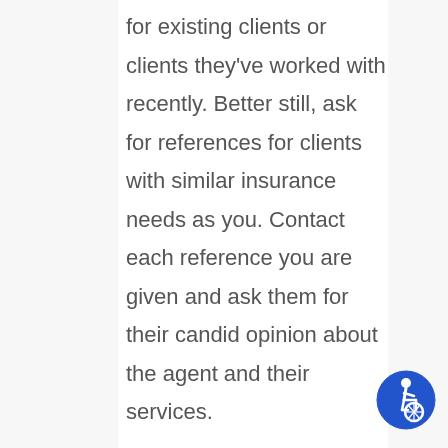for existing clients or clients they've worked with recently. Better still, ask for references for clients with similar insurance needs as you. Contact each reference you are given and ask them for their candid opinion about the agent and their services.
[Figure (illustration): Blue circular accessibility icon showing a person in a wheelchair]